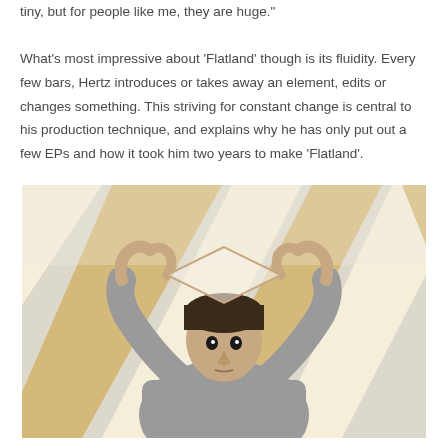tiny, but for people like me, they are huge."

What’s most impressive about ‘Flatland’ though is its fluidity. Every few bars, Hertz introduces or takes away an element, edits or changes something. This striving for constant change is central to his production technique, and explains why he has only put out a few EPs and how it took him two years to make ‘Flatland’.
[Figure (photo): A person wearing a grey sweater holds their hands up forming a diamond/triangle shape with their fingers, looking through the gap. The background shows diagonal striped wooden ceiling beams in yellow/tan tones with white spaces between them.]